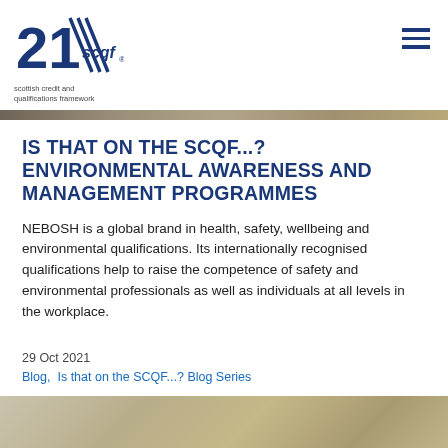SCQF - Scottish Credit and Qualifications Framework
IS THAT ON THE SCQF...? ENVIRONMENTAL AWARENESS AND MANAGEMENT PROGRAMMES
NEBOSH is a global brand in health, safety, wellbeing and environmental qualifications. Its internationally recognised qualifications help to raise the competence of safety and environmental professionals as well as individuals at all levels in the workplace.
29 Oct 2021
Blog,  Is that on the SCQF...? Blog Series
[Figure (photo): Partial view of a background photo at bottom of page, showing muted earth tones]